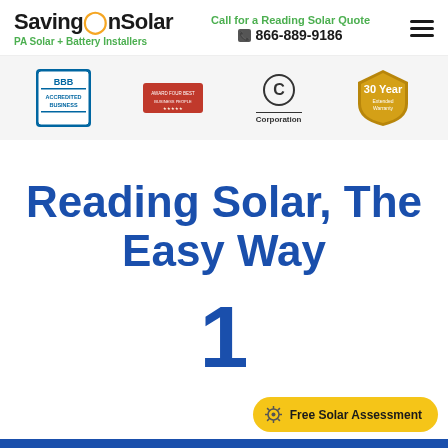SavingOnSolar — PA Solar + Battery Installers | Call for a Reading Solar Quote 866-889-9186
[Figure (logo): Certification and trust badges: BBB Accredited Business, another award badge, C Corporation, 30 Year Extended Warranty badge]
Reading Solar, The Easy Way
1